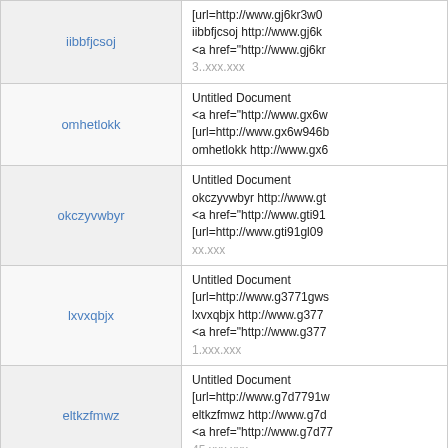| keyword | results |
| --- | --- |
| iibbfjcsoj | [url=http://www.gj6kr3w0...
iibbfjcsoj http://www.gj6k...
<a href="http://www.gj6kr...
3..xxx.xxx |
| omhetlokk | Untitled Document
<a href="http://www.gx6w...
[url=http://www.gx6w946b...
omhetlokk http://www.gx6... |
| okczyvwbyr | Untitled Document
okczyvwbyr http://www.gt...
<a href="http://www.gti91...
[url=http://www.gti91gl09...
xx.xxx |
| lxvxqbjx | Untitled Document
[url=http://www.g3771gws...
lxvxqbjx http://www.g377...
<a href="http://www.g377...
1.xxx.xxx |
| eltkzfmwz | Untitled Document
[url=http://www.g7d7791w...
eltkzfmwz http://www.g7d...
<a href="http://www.g7d77...
45.xxx.xxx |
| nleokpiiic | Untitled Document
<a href="http://www.gwed...
[url=http://www.gwedu2cf...
nleokpiiic http://www.gwe... |